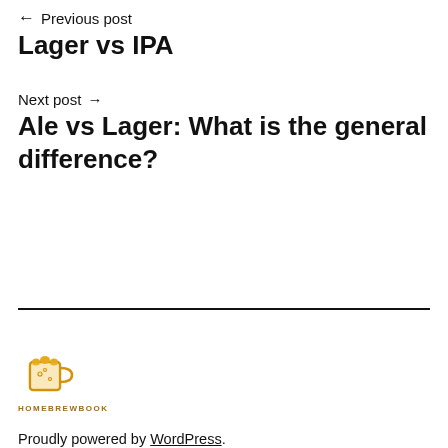← Previous post
Lager vs IPA
Next post →
Ale vs Lager: What is the general difference?
[Figure (logo): Homebrewbook logo: a beer mug icon with text HOMEBREWBOOK below it in orange/gold color]
Proudly powered by WordPress.